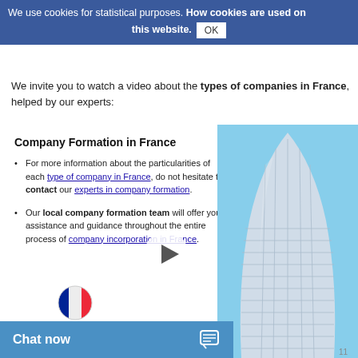We use cookies for statistical purposes. How cookies are used on this website. OK
verify their accounts. The accounting of a company can also be outsourced.
We invite you to watch a video about the types of companies in France, helped by our experts:
Company Formation in France
For more information about the particularities of each type of company in France, do not hesitate to contact our experts in company formation.
Our local company formation team will offer you assistance and guidance throughout the entire process of company incorporation in France.
[Figure (photo): Tall curved modern glass skyscraper building against blue sky]
[Figure (other): Video play button overlay]
[Figure (other): France flag circle icon]
Chat now   11